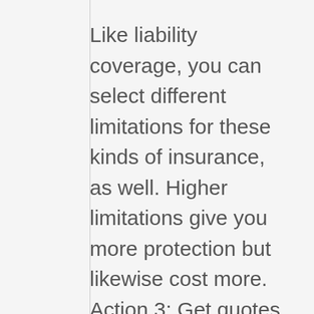Like liability coverage, you can select different limitations for these kinds of insurance, as well. Higher limitations give you more protection but likewise cost more. Action 3: Get quotes and compare your alternatives Once you have your details all set and understand what you're searching for, you can begin comparing quotes.
You can utilize a quote comparison tool, get quotes online from companies, call companies on the phone, visit a branch face to face or even overcome an insurance coverage broker. Here are some